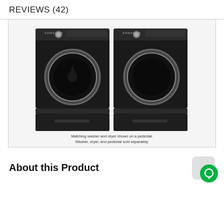REVIEWS (42)
[Figure (photo): Samsung matching front-load washer and dryer in black, shown side by side on matching pedestals.]
Matching washer and dryer shown on a pedestal. Washer, dryer, and pedestal sold separately.
About this Product